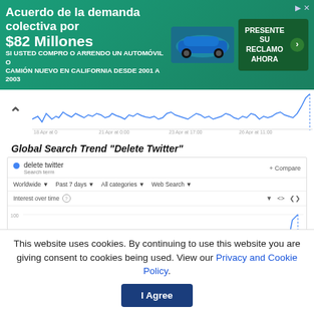[Figure (infographic): Advertisement banner in green/teal background: 'Acuerdo de la demanda colectiva por $82 Millones. SI USTED COMPRO O ARRENDO UN AUTOMÓVIL O CAMIÓN NUEVO EN CALIFORNIA DESDE 2001 A 2003'. Shows a blue car image and a green 'PRESENTE SU RECLAMO AHORA' button.]
[Figure (line-chart): Small mini line chart strip showing search trend data as a line chart preview, partially cropped at top.]
Global Search Trend "Delete Twitter"
[Figure (line-chart): Google Trends screenshot showing 'delete twitter' search term interest over time. Line chart with a sharp spike at the rightmost point (most recent date). Filters: Worldwide, Past 7 days, All categories, Web Search. Interest over time chart shows a relatively flat line that spikes sharply upward at the end. X-axis shows date labels. Y-axis shows values up to 100.]
Source- Zero Hedge
This website uses cookies. By continuing to use this website you are giving consent to cookies being used. View our Privacy and Cookie Policy.